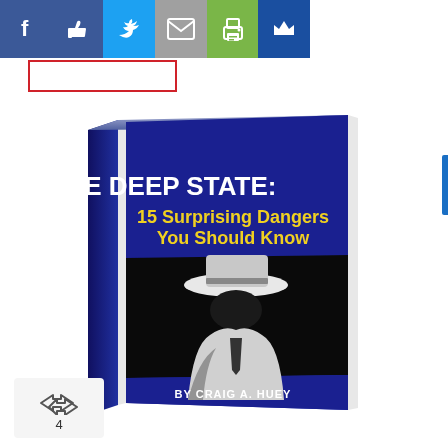[Figure (screenshot): Social media share bar with icons: Facebook (f), Like (thumbs up), Twitter (bird), Email (envelope), Print (printer), Crown/bookmark button]
[Figure (photo): Book cover: 'THE DEEP STATE: 15 Surprising Dangers You Should Know' by Craig A. Huey. Blue cover with a shadowy figure in a fedora hat on the lower half, white title text and yellow subtitle text.]
4